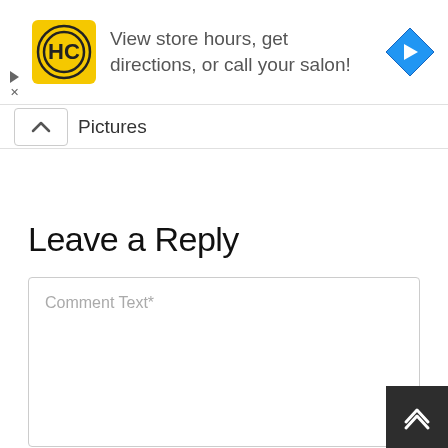[Figure (screenshot): Advertisement banner for a hair salon (HC logo) with text 'View store hours, get directions, or call your salon!' and a blue navigation/directions icon on the right. Play and close icons on the left edge.]
Pictures
Leave a Reply
Comment Text*